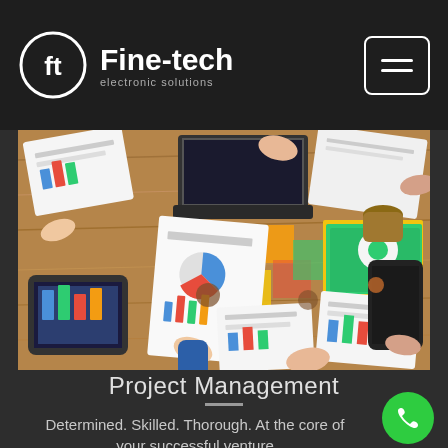Fine-tech electronic solutions
[Figure (photo): Overhead view of people at a wooden table working on project documents, charts, reports, sticky notes, laptops, tablets, and phones during a business meeting.]
Project Management
Determined. Skilled. Thorough. At the core of your successful venture